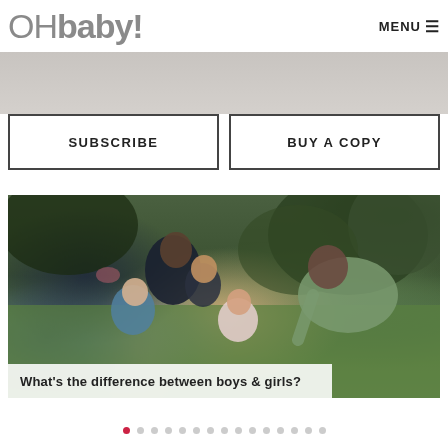OHbaby! MENU
[Figure (photo): Partial background image strip at top (blurred/faded magazine cover image)]
SUBSCRIBE
BUY A COPY
[Figure (photo): Family photo showing a man and woman with three young children playing on grass in a garden with trees in background. A woman leans over smiling at the children. White caption bar at bottom reads: What's the difference between boys & girls?]
What's the difference between boys & girls?
Carousel navigation dots (15 dots, first dot active/red)